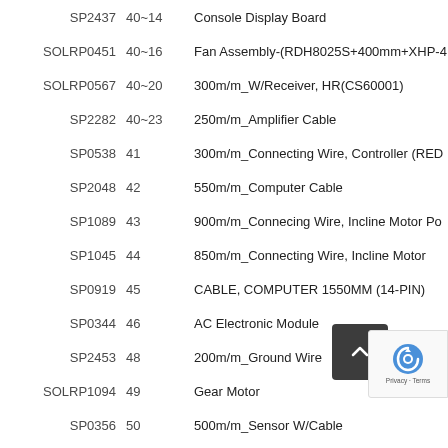| Part Number | Item | Description |
| --- | --- | --- |
| SP2437 | 40~14 | Console Display Board |
| SOLRP0451 | 40~16 | Fan Assembly-(RDH8025S+400mm+XHP-4... |
| SOLRP0567 | 40~20 | 300m/m_W/Receiver, HR(CS60001) |
| SP2282 | 40~23 | 250m/m_Amplifier Cable |
| SP0538 | 41 | 300m/m_Connecting Wire, Controller (RED... |
| SP2048 | 42 | 550m/m_Computer Cable |
| SP1089 | 43 | 900m/m_Connecing Wire, Incline Motor Po... |
| SP1045 | 44 | 850m/m_Connecting Wire, Incline Motor |
| SP0919 | 45 | CABLE, COMPUTER 1550MM (14-PIN) |
| SP0344 | 46 | AC Electronic Module |
| SP2453 | 48 | 200m/m_Ground Wire |
| SOLRP1094 | 49 | Gear Motor |
| SP0356 | 50 | 500m/m_Sensor W/Cable... |
| SP2390 | 51 | Incline Motor |
| SP0458 | 52 | 850m/m_Handpulse W/Cable Assembly (W... |